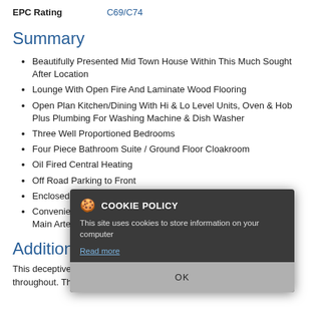| EPC Rating |  |
| --- | --- |
| EPC Rating | C69/C74 |
Summary
Beautifully Presented Mid Town House Within This Much Sought After Location
Lounge With Open Fire And Laminate Wood Flooring
Open Plan Kitchen/Dining With Hi & Lo Level Units, Oven & Hob Plus Plumbing For Washing Machine & Dish Washer
Three Well Proportioned Bedrooms
Four Piece Bathroom Suite / Ground Floor Cloakroom
Oil Fired Central Heating
Off Road Parking to Front
Enclosed South Facing Rear Garden Laid Out In Lawns
Convenient To Local Shopping On The Green Road And To The Main Arterial Roads To Belfast Newtownards & Bangor
Additional Information
This deceptively spacious mid town house is beautifully presented throughout. The accommodation is over two levels and comprises
[Figure (screenshot): Cookie policy modal overlay with title 'COOKIE POLICY', message 'This site uses cookies to store information on your computer', a 'Read more' link, and an 'OK' button]